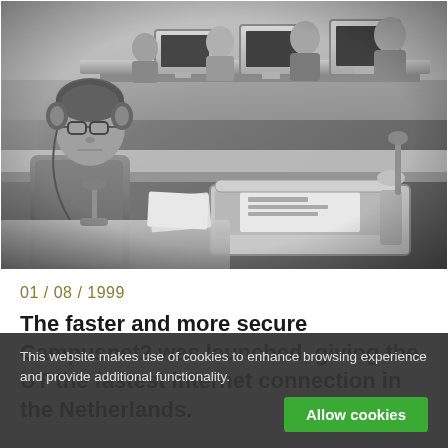[Figure (photo): Black and white photograph of people sitting at desks in a computer lab, with old CRT monitors and equipment. A man in the foreground wears headphones and is using a document scanner/reader device. Other people are visible in the background at computer workstations.]
01 / 08 / 1999
The faster and more secure Campusnet2 was launched, giving the UT the fastest internet connection in the Netherlands.
This website makes use of cookies to enhance browsing experience and provide additional functionality.
Allow cookies